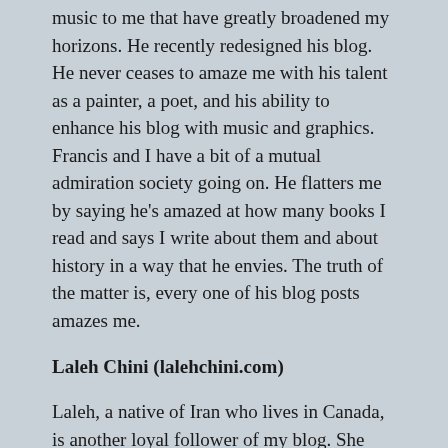music to me that have greatly broadened my horizons. He recently redesigned his blog. He never ceases to amaze me with his talent as a painter, a poet, and his ability to enhance his blog with music and graphics. Francis and I have a bit of a mutual admiration society going on. He flatters me by saying he's amazed at how many books I read and says I write about them and about history in a way that he envies. The truth of the matter is, every one of his blog posts amazes me.
Laleh Chini (lalehchini.com)
Laleh, a native of Iran who lives in Canada, is another loyal follower of my blog. She encourages me to keep writing, and I'm encouraged by the several books she has written and published in the last few years. The stories she shares from her native Iran often remind